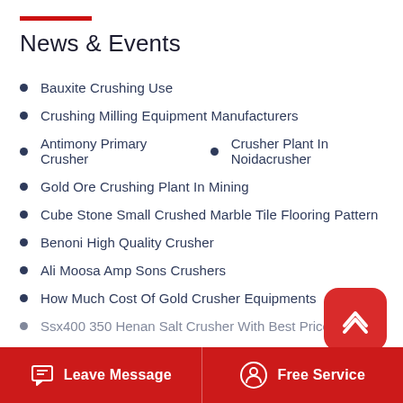News & Events
Bauxite Crushing Use
Crushing Milling Equipment Manufacturers
Antimony Primary Crusher   •   Crusher Plant In Noidacrusher
Gold Ore Crushing Plant In Mining
Cube Stone Small Crushed Marble Tile Flooring Pattern
Benoni High Quality Crusher
Ali Moosa Amp Sons Crushers
How Much Cost Of Gold Crusher Equipments
Ssx400 350 Henan Salt Crusher With Best Price
Leave Message   Free Service